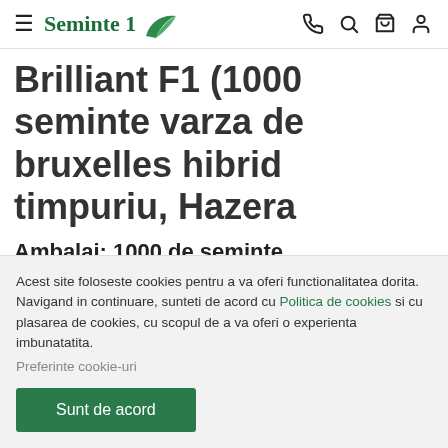Seminte 1
Brilliant F1 (1000 seminte varza de bruxelles hibrid timpuriu, Hazera
Ambalaj: 1000 de seminte
Brilliant F1 este un hibrid profesional de varza de
Acest site foloseste cookies pentru a va oferi functionalitatea dorita. Navigand in continuare, sunteti de acord cu Politica de cookies si cu plasarea de cookies, cu scopul de a va oferi o experienta imbunatatita. Preferinte cookie-uri
Sunt de acord